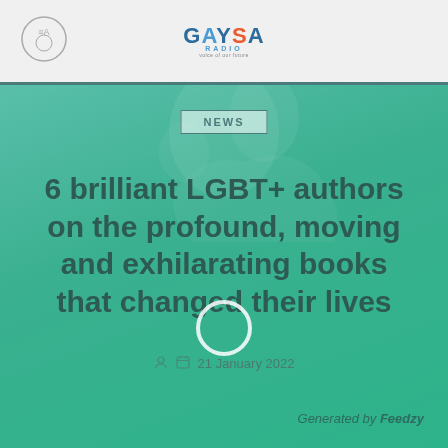GAYSA RADIO
NEWS
6 brilliant LGBT+ authors on the profound, moving and exhilarating books that changed their lives
21 January 2022
Generated by Feedzy